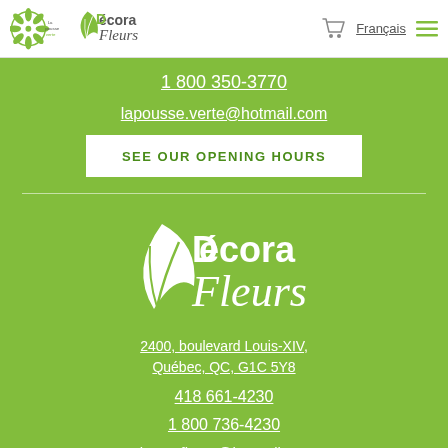La Pousse Verte | Décora Fleurs — Navigation header with cart, Français, hamburger menu
1 800 350-3770
lapousse.verte@hotmail.com
SEE OUR OPENING HOURS
[Figure (logo): Décora Fleurs logo — white leaf/petal icon with 'Décora Fleurs' text in white on green background]
2400, boulevard Louis-XIV, Québec, QC, G1C 5Y8
418 661-4230
1 800 736-4230
decorafleurs@hotmail.com